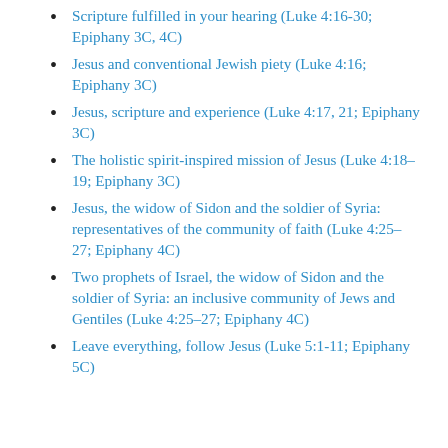Scripture fulfilled in your hearing (Luke 4:16-30; Epiphany 3C, 4C)
Jesus and conventional Jewish piety (Luke 4:16; Epiphany 3C)
Jesus, scripture and experience (Luke 4:17, 21; Epiphany 3C)
The holistic spirit-inspired mission of Jesus (Luke 4:18–19; Epiphany 3C)
Jesus, the widow of Sidon and the soldier of Syria: representatives of the community of faith (Luke 4:25–27; Epiphany 4C)
Two prophets of Israel, the widow of Sidon and the soldier of Syria: an inclusive community of Jews and Gentiles (Luke 4:25–27; Epiphany 4C)
Leave everything, follow Jesus (Luke 5:1-11; Epiphany 5C)